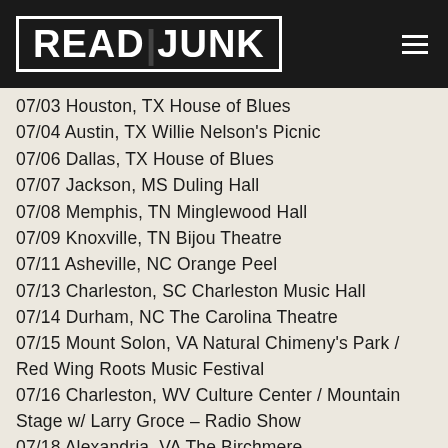READ JUNK
07/03 Houston, TX House of Blues
07/04 Austin, TX Willie Nelson's Picnic
07/06 Dallas, TX House of Blues
07/07 Jackson, MS Duling Hall
07/08 Memphis, TN Minglewood Hall
07/09 Knoxville, TN Bijou Theatre
07/11 Asheville, NC Orange Peel
07/13 Charleston, SC Charleston Music Hall
07/14 Durham, NC The Carolina Theatre
07/15 Mount Solon, VA Natural Chimeny's Park / Red Wing Roots Music Festival
07/16 Charleston, WV Culture Center / Mountain Stage w/ Larry Groce – Radio Show
07/18 Alexandria, VA The Birchmere